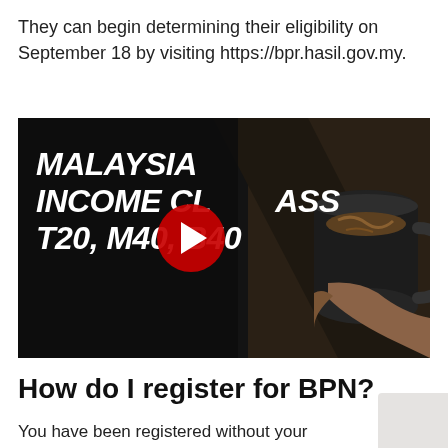They can begin determining their eligibility on September 18 by visiting https://bpr.hasil.gov.my.
[Figure (screenshot): YouTube video thumbnail showing text 'MALAYSIA INCOME CLASS T20, M40, B40' in bold italic white font on dark background with coffee mug image and YouTube play button overlay.]
How do I register for BPN?
You have been registered without your knowledge. Although not eligible for the first